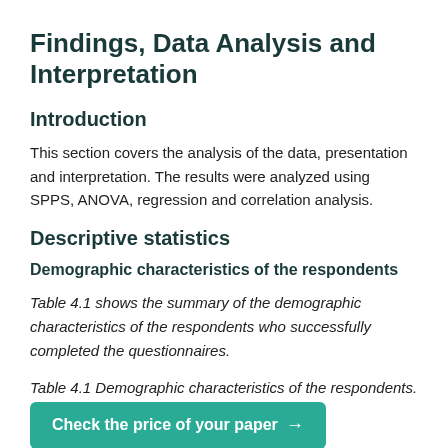Findings, Data Analysis and Interpretation
Introduction
This section covers the analysis of the data, presentation and interpretation. The results were analyzed using SPPS, ANOVA, regression and correlation analysis.
Descriptive statistics
Demographic characteristics of the respondents
Table 4.1 shows the summary of the demographic characteristics of the respondents who successfully completed the questionnaires.
Table 4.1 Demographic characteristics of the respondents.
Check the price of your paper →